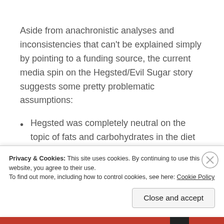Aside from anachronistic analyses and inconsistencies that can't be explained simply by pointing to a funding source, the current media spin on the Hegsted/Evil Sugar story suggests some pretty problematic assumptions:
Hegsted was completely neutral on the topic of fats and carbohydrates in the diet until sugar industry money came along.
Privacy & Cookies: This site uses cookies. By continuing to use this website, you agree to their use.
To find out more, including how to control cookies, see here: Cookie Policy
Close and accept